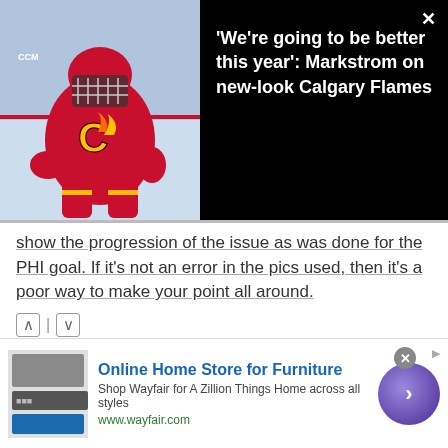[Figure (screenshot): Video thumbnail overlay showing a Calgary Flames goalie in red gear with the Flames logo, on a black background with white headline text and a close button.]
'We're going to be better this year': Markstrom on new-look Calgary Flames
show the progression of the issue as was done for the PHI goal. If it's not an error in the pics used, then it's a poor way to make your point all around.
Marcel DePass
3 years ago
Regarding the powerplay, I think the key is Nylander, and always should have been. He's an awesome passer, and has a wicked shot to boot. He also had a better one-timer than even Matthews.
Also, I do agree Johnsson should be the bumper, but to make the man-advantage more dangerous, there needs to
Online Home Store for Furniture
Shop Wayfair for A Zillion Things Home across all styles
www.wayfair.com